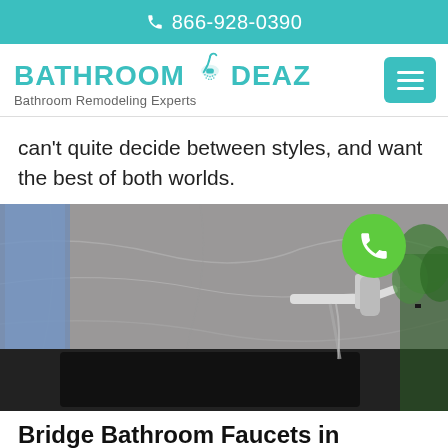866-928-0390
[Figure (logo): Bathroom Ideaz logo with shower head icon and text 'Bathroom Remodeling Experts']
can't quite decide between styles, and want the best of both worlds.
[Figure (photo): Modern wall-mounted chrome bathroom faucet running water into a black undermount sink against a grey marble wall, with a green plant on the right and blue towel in background. A green phone call button overlay is shown in the upper right of the image.]
Bridge Bathroom Faucets in Anderson